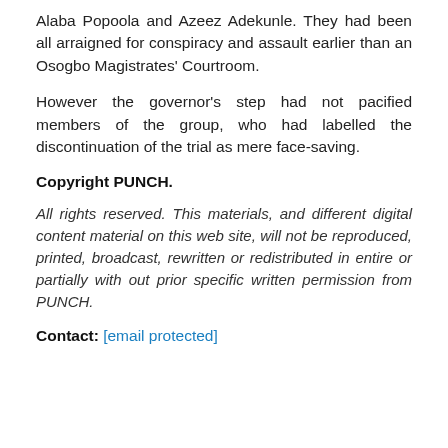Alaba Popoola and Azeez Adekunle. They had been all arraigned for conspiracy and assault earlier than an Osogbo Magistrates' Courtroom.
However the governor's step had not pacified members of the group, who had labelled the discontinuation of the trial as mere face-saving.
Copyright PUNCH.
All rights reserved. This materials, and different digital content material on this web site, will not be reproduced, printed, broadcast, rewritten or redistributed in entire or partially with out prior specific written permission from PUNCH.
Contact: [email protected]